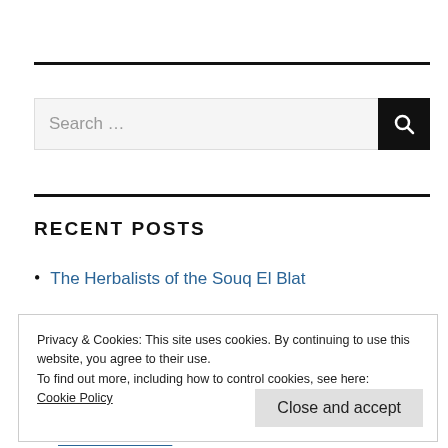[Figure (other): Search bar with text input showing 'Search ...' placeholder and a black magnifying glass button on the right]
RECENT POSTS
The Herbalists of the Souq El Blat
Privacy & Cookies: This site uses cookies. By continuing to use this website, you agree to their use.
To find out more, including how to control cookies, see here:
Cookie Policy
Close and accept